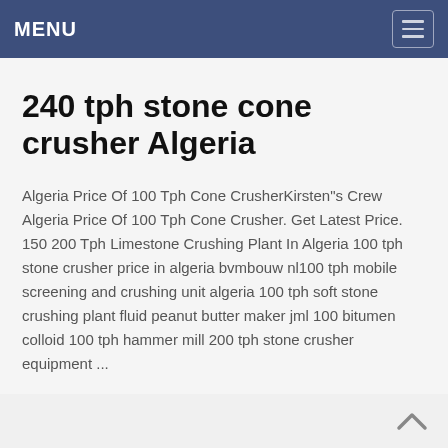MENU
240 tph stone cone crusher Algeria
Algeria Price Of 100 Tph Cone CrusherKirsten"s Crew Algeria Price Of 100 Tph Cone Crusher. Get Latest Price. 150 200 Tph Limestone Crushing Plant In Algeria 100 tph stone crusher price in algeria bvmbouw nl100 tph mobile screening and crushing unit algeria 100 tph soft stone crushing plant fluid peanut butter maker jml 100 bitumen colloid 100 tph hammer mill 200 tph stone crusher equipment ...